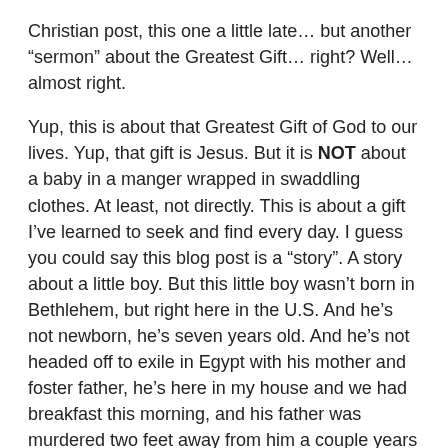Christian post, this one a little late… but another “sermon” about the Greatest Gift… right? Well… almost right.
Yup, this is about that Greatest Gift of God to our lives. Yup, that gift is Jesus. But it is NOT about a baby in a manger wrapped in swaddling clothes. At least, not directly. This is about a gift I’ve learned to seek and find every day. I guess you could say this blog post is a “story”. A story about a little boy. But this little boy wasn’t born in Bethlehem, but right here in the U.S. And he’s not newborn, he’s seven years old. And he’s not headed off to exile in Egypt with his mother and foster father, he’s here in my house and we had breakfast this morning, and his father was murdered two feet away from him a couple years ago and his mother is in prison. A very different little boy…